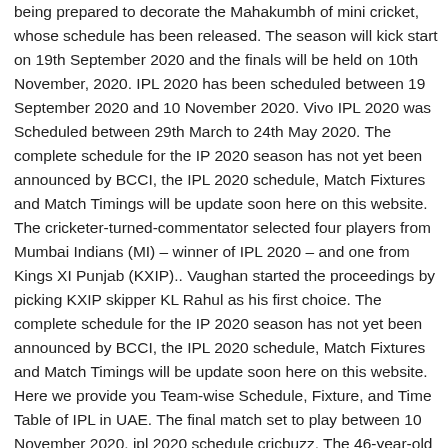being prepared to decorate the Mahakumbh of mini cricket, whose schedule has been released. The season will kick start on 19th September 2020 and the finals will be held on 10th November, 2020. IPL 2020 has been scheduled between 19 September 2020 and 10 November 2020. Vivo IPL 2020 was Scheduled between 29th March to 24th May 2020. The complete schedule for the IP 2020 season has not yet been announced by BCCI, the IPL 2020 schedule, Match Fixtures and Match Timings will be update soon here on this website. The cricketer-turned-commentator selected four players from Mumbai Indians (MI) – winner of IPL 2020 – and one from Kings XI Punjab (KXIP).. Vaughan started the proceedings by picking KXIP skipper KL Rahul as his first choice. The complete schedule for the IP 2020 season has not yet been announced by BCCI, the IPL 2020 schedule, Match Fixtures and Match Timings will be update soon here on this website. Here we provide you Team-wise Schedule, Fixture, and Time Table of IPL in UAE. The final match set to play between 10 November 2020. ipl 2020 schedule cricbuzz. The 46-year-old said: "I'm starting with KL Rahul. New Zealand won by an innings and 12 runs, Day 3: